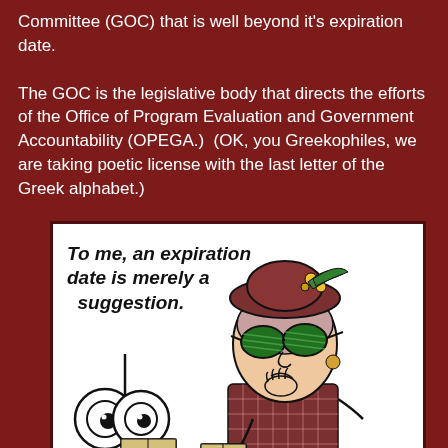Committee (GOC) that is well beyond it's expiration date.
The GOC is the legislative body that directs the efforts of the Office of Program Evaluation and Government Accountability (OPEGA.)  (OK, you Greekophiles, we are taking poetic license with the last letter of the Greek alphabet.)
[Figure (illustration): A comic cartoon showing an older woman with sunglasses, a hat, and a checkered jacket holding a milk carton. Text reads: 'To me, an expiration date is merely a suggestion.' A second character with wide eyes appears in the background.]